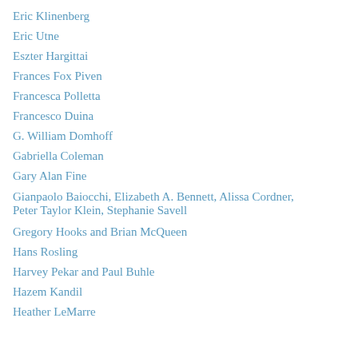Eric Klinenberg
Eric Utne
Eszter Hargittai
Frances Fox Piven
Francesca Polletta
Francesco Duina
G. William Domhoff
Gabriella Coleman
Gary Alan Fine
Gianpaolo Baiocchi, Elizabeth A. Bennett, Alissa Cordner, Peter Taylor Klein, Stephanie Savell
Gregory Hooks and Brian McQueen
Hans Rosling
Harvey Pekar and Paul Buhle
Hazem Kandil
Heather LeMarre